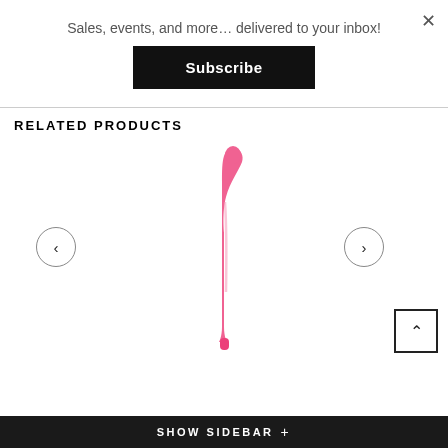Sales, events, and more… delivered to your inbox!
Subscribe
RELATED PRODUCTS
[Figure (photo): Pink curved adult toy product on white background]
SHOW SIDEBAR +